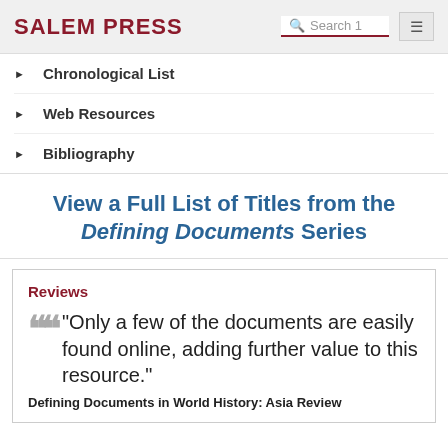SALEM PRESS
Chronological List
Web Resources
Bibliography
View a Full List of Titles from the Defining Documents Series
Reviews
"Only a few of the documents are easily found online, adding further value to this resource."
Defining Documents in World History: Asia Review